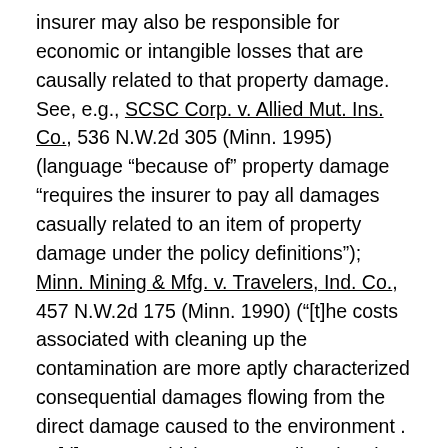insurer may also be responsible for economic or intangible losses that are causally related to that property damage. See, e.g., SCSC Corp. v. Allied Mut. Ins. Co., 536 N.W.2d 305 (Minn. 1995) (language "because of" property damage "requires the insurer to pay all damages casually related to an item of property damage under the policy definitions"); Minn. Mining & Mfg. v. Travelers, Ind. Co., 457 N.W.2d 175 (Minn. 1990) ("[t]he costs associated with cleaning up the contamination are more aptly characterized consequential damages flowing from the direct damage caused to the environment . . . [d]amages which are causally related to covered 'property damage' should also be covered under the language of the policy"); Atlantic Mut. Ins. Co. v. Judd Co., 367 N.W.2d 604 (Minn. Ct. App. 1985), aff'd, 380 N.W.2d 122 (Minn. 1986) (policy covered damages for labor "idle time" caused by defective pipe); Westfield